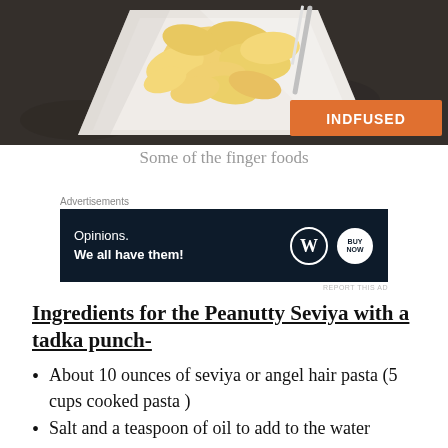[Figure (photo): Partial photo of finger food snacks on a white plate on a dark surface, with an orange 'INDFUSED' watermark label in the bottom right corner.]
Some of the finger foods
Advertisements
[Figure (other): Advertisement banner with dark navy background reading 'Opinions. We all have them!' with WordPress and another logo on the right.]
REPORT THIS AD
Ingredients for the Peanutty Seviya with a tadka punch-
About 10 ounces of seviya or angel hair pasta (5 cups cooked pasta )
Salt and a teaspoon of oil to add to the water